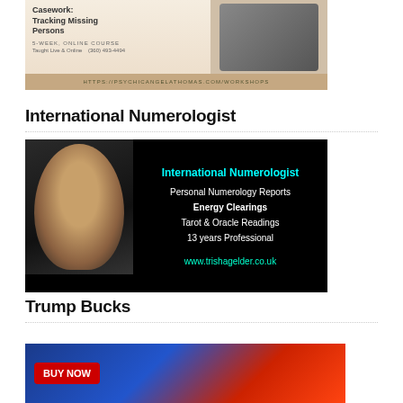[Figure (illustration): Advertisement banner for psychic course on tracking missing persons showing text 'Casework: Tracking Missing Persons' with devices and URL https://psychicangelathomas.com/workshops]
International Numerologist
[Figure (illustration): Advertisement for International Numerologist featuring woman's portrait on black background with text: Personal Numerology Reports, Energy Clearings, Tarot & Oracle Readings, 13 years Professional, www.trishagelder.co.uk]
Trump Bucks
[Figure (illustration): Advertisement for Trump Bucks with BUY NOW button in red on patriotic blue/red background]